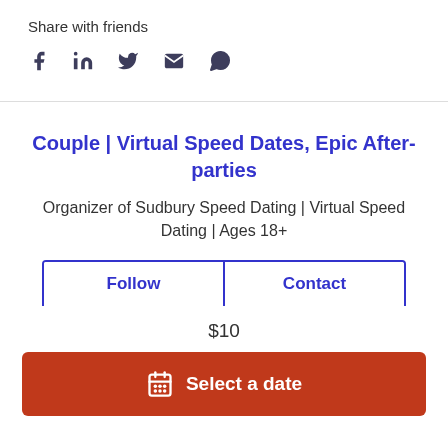Share with friends
[Figure (infographic): Social sharing icons: Facebook, LinkedIn, Twitter, Email, WhatsApp]
Couple | Virtual Speed Dates, Epic After-parties
Organizer of Sudbury Speed Dating | Virtual Speed Dating | Ages 18+
Follow   Contact
$10
Select a date